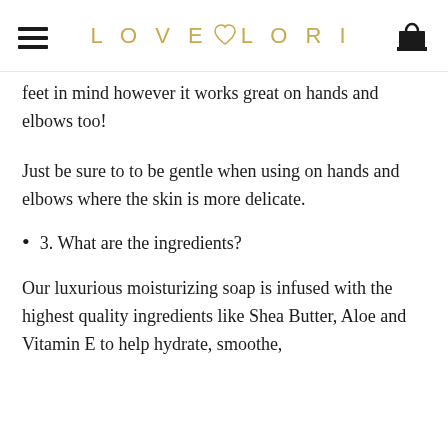LOVE LORI
feet in mind however it works great on hands and elbows too!
Just be sure to to be gentle when using on hands and elbows where the skin is more delicate.
3. What are the ingredients?
Our luxurious moisturizing soap is infused with the highest quality ingredients like Shea Butter, Aloe and Vitamin E to help hydrate, smoothe, soften and nourish the hands, elbows and feet